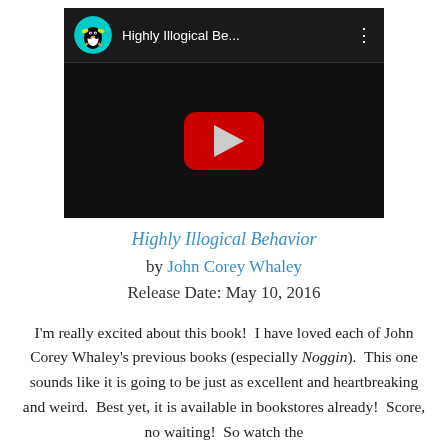[Figure (screenshot): YouTube video thumbnail showing a penguin logo icon, title 'Highly Illogical Be...', three-dot menu, and a red play button on black background]
Highly Illogical Behavior by John Corey Whaley
Release Date: May 10, 2016
I'm really excited about this book!  I have loved each of John Corey Whaley's previous books (especially Noggin).  This one sounds like it is going to be just as excellent and heartbreaking and weird.  Best yet, it is available in bookstores already!  Score, no waiting!  So watch the